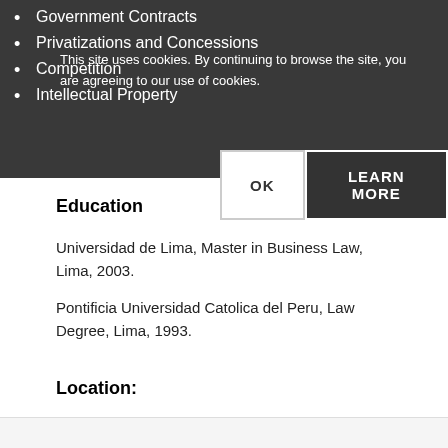Government Contracts
Privatizations and Concessions
Competition
Intellectual Property
This site uses cookies. By continuing to browse the site, you are agreeing to our use of cookies.
Education
Universidad de Lima, Master in Business Law, Lima, 2003.
Pontificia Universidad Catolica del Peru, Law Degree, Lima, 1993.
Location: